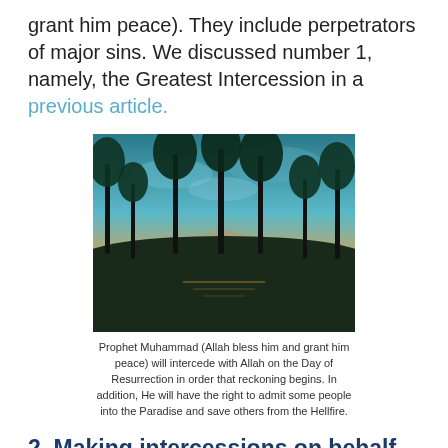grant him peace). They include perpetrators of major sins. We discussed number 1, namely, the Greatest Intercession in a previous article.
[Figure (photo): A tropical sunset scene with palm trees silhouetted against a glowing orange and teal sky, reflected on calm water]
Prophet Muhammad (Allah bless him and grant him peace) will intercede with Allah on the Day of Resurrection in order that reckoning begins. In addition, He will have the right to admit some people into the Paradise and save others from the Hellfire.
2. Making intercessions on behalf of the perpetrators of major sins